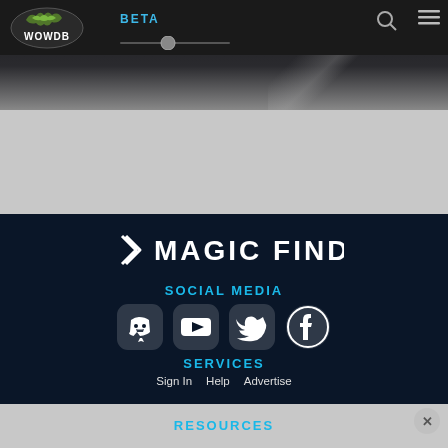WOWDB | BETA
[Figure (logo): Magic Find logo with white stylized icon and MAGIC FIND text in white on dark navy background]
SOCIAL MEDIA
[Figure (infographic): Row of four social media icons: Discord, YouTube, Twitter, Facebook — white on dark navy background]
SERVICES
Sign In
Help
Advertise
RESOURCES